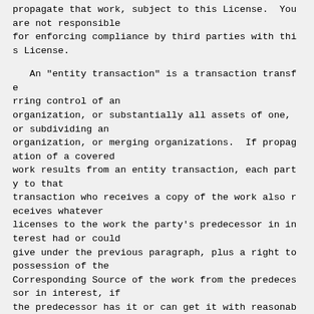propagate that work, subject to this License.  You are not responsible for enforcing compliance by third parties with this License.
An "entity transaction" is a transaction transferring control of an organization, or substantially all assets of one, or subdividing an organization, or merging organizations.  If propagation of a covered work results from an entity transaction, each party to that transaction who receives a copy of the work also receives whatever licenses to the work the party's predecessor in interest had or could give under the previous paragraph, plus a right to possession of the Corresponding Source of the work from the predecessor in interest, if the predecessor has it or can get it with reasonable efforts.
You may not impose any further restrictions on t